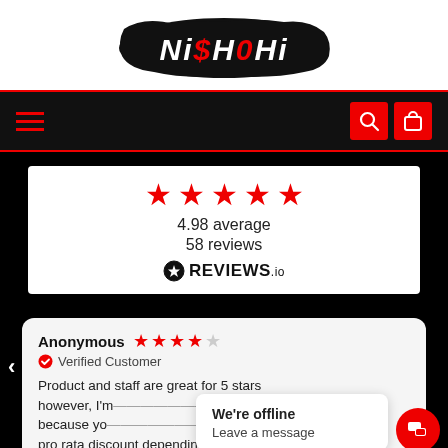[Figure (logo): Nishohi brand logo — white graffiti/brush text on black paint splash background]
[Figure (screenshot): Navigation bar with hamburger menu icon on left and red search and cart icon buttons on right]
[Figure (infographic): Reviews summary card showing 5 red stars, 4.98 average, 58 reviews, and REVIEWS.io logo]
4.98 average
58 reviews
REVIEWS.io
Anonymous ★★★★☆ Verified Customer Product and staff are great for 5 stars however, I'm giving 4 because you pro rata discount depending on amount
We're offline
Leave a message